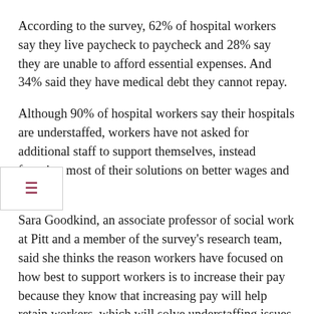According to the survey, 62% of hospital workers say they live paycheck to paycheck and 28% say they are unable to afford essential expenses. And 34% said they have medical debt they cannot repay.
Although 90% of hospital workers say their hospitals are understaffed, workers have not asked for additional staff to support themselves, instead focusing most of their solutions on better wages and benefits.
Sara Goodkind, an associate professor of social work at Pitt and a member of the survey's research team, said she thinks the reason workers have focused on how best to support workers is to increase their pay because they know that increasing pay will help retain workers, which will solve understaffing issues.
Shook said the researchers will share these findings with local interested parties, including hospitals, politicians and local leaders, in